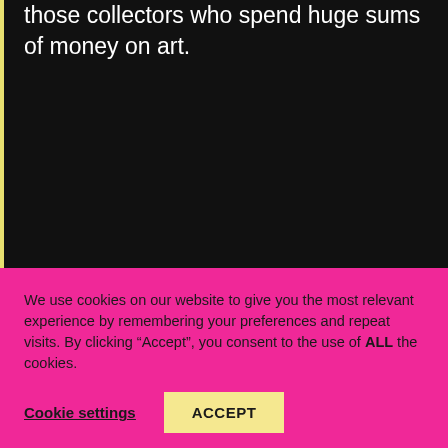those collectors who spend huge sums of money on art.
We use cookies on our website to give you the most relevant experience by remembering your preferences and repeat visits. By clicking “Accept”, you consent to the use of ALL the cookies.
Cookie settings
ACCEPT